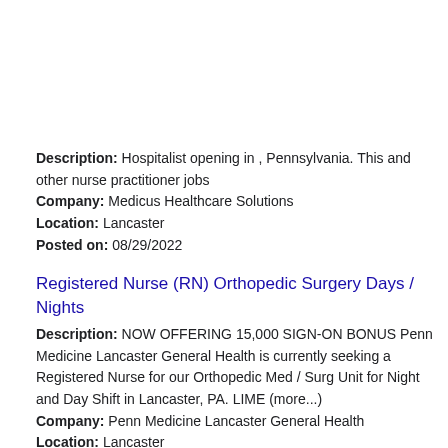Description: Hospitalist opening in , Pennsylvania. This and other nurse practitioner jobs Company: Medicus Healthcare Solutions Location: Lancaster Posted on: 08/29/2022
Registered Nurse (RN) Orthopedic Surgery Days / Nights
Description: NOW OFFERING 15,000 SIGN-ON BONUS Penn Medicine Lancaster General Health is currently seeking a Registered Nurse for our Orthopedic Med / Surg Unit for Night and Day Shift in Lancaster, PA. LIME (more...) Company: Penn Medicine Lancaster General Health Location: Lancaster Posted on: 08/29/2022
Salary in Allentown, Pennsylvania Area | More details for Allentown, Pennsylvania Jobs |Salary